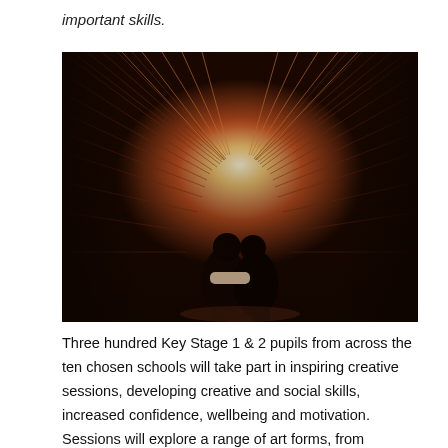important skills.
[Figure (photo): Two children silhouetted against a glowing light at the end of a tunnel made of shimmering reflective metallic material, viewed from behind.]
Three hundred Key Stage 1 & 2 pupils from across the ten chosen schools will take part in inspiring creative sessions, developing creative and social skills, increased confidence, wellbeing and motivation.  Sessions will explore a range of art forms, from contemporary dance to visual art. All participating children have the chance to